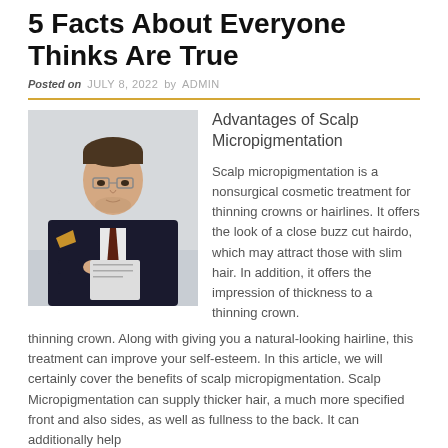5 Facts About Everyone Thinks Are True
Posted on JULY 8, 2022 by ADMIN
Advantages of Scalp Micropigmentation
[Figure (photo): Man in dark suit and glasses sitting at a desk, looking thoughtful]
Scalp micropigmentation is a nonsurgical cosmetic treatment for thinning crowns or hairlines. It offers the look of a close buzz cut hairdo, which may attract those with slim hair. In addition, it offers the impression of thickness to a thinning crown. Along with giving you a natural-looking hairline, this treatment can improve your self-esteem. In this article, we will certainly cover the benefits of scalp micropigmentation. Scalp Micropigmentation can supply thicker hair, a much more specified front and also sides, as well as fullness to the back. It can additionally help